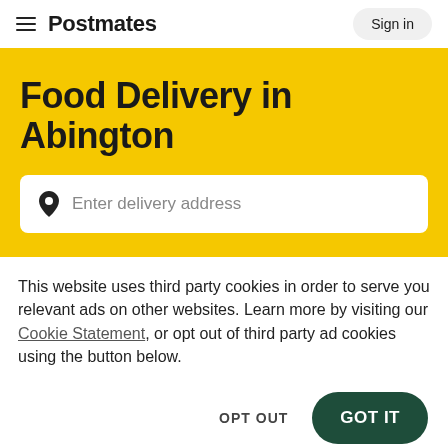Postmates  Sign in
Food Delivery in Abington
Enter delivery address
This website uses third party cookies in order to serve you relevant ads on other websites. Learn more by visiting our Cookie Statement, or opt out of third party ad cookies using the button below.
OPT OUT    GOT IT